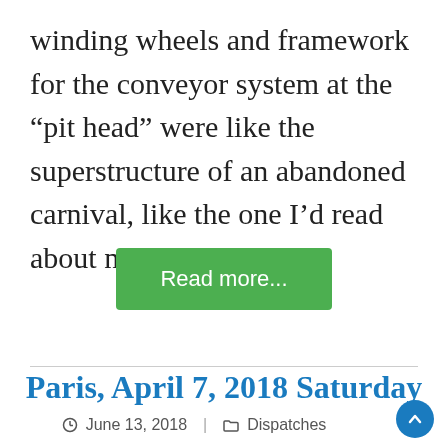winding wheels and framework for the conveyor system at the “pit head” were like the superstructure of an abandoned carnival, like the one I’d read about near Chernobyl.
Read more...
Paris, April 7, 2018 Saturday
June 13, 2018 | Dispatches